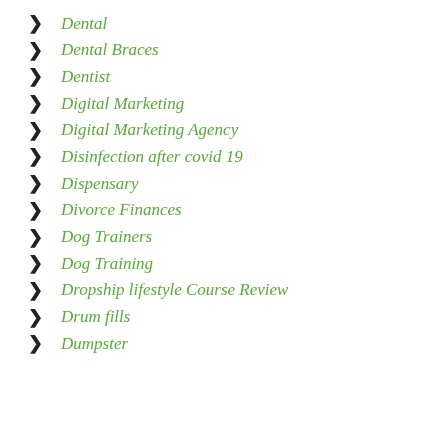Dental
Dental Braces
Dentist
Digital Marketing
Digital Marketing Agency
Disinfection after covid 19
Dispensary
Divorce Finances
Dog Trainers
Dog Training
Dropship lifestyle Course Review
Drum fills
Dumpster